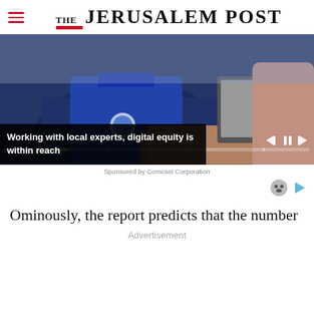THE JERUSALEM POST
[Figure (screenshot): Video player showing a person in a blue uniform shirt working at a laptop computer. Video has playback controls and a progress bar at the bottom.]
Working with local experts, digital equity is within reach
Sponsored by Comcast Corporation
Ominously, the report predicts that the number
Advertisement